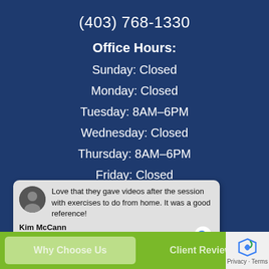(403) 768-1330
Office Hours:
Sunday: Closed
Monday: Closed
Tuesday: 8AM–6PM
Wednesday: Closed
Thursday: 8AM–6PM
Friday: Closed
Saturday: Closed
Maps and Directions
Love that they gave videos after the session with exercises to do from home. It was a good reference!
Kim McCann
Why Choose Us
Client Reviews